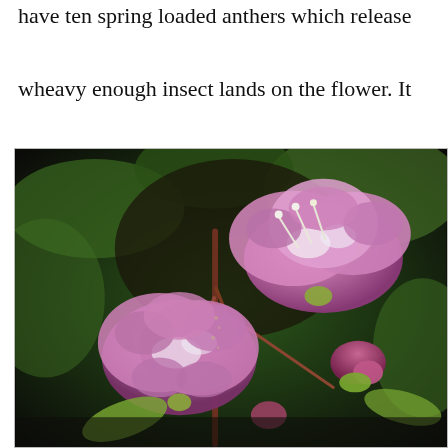have ten spring loaded anthers which release when a heavy enough insect lands on the flower. It then gets dusted with pollen and goes on its way.
[Figure (photo): Close-up photograph of pink mountain laurel flowers (Kalmia latifolia) with distinctive ruffled petals showing white markings, stamens visible, against a blurred green and dark background. Several buds also visible.]